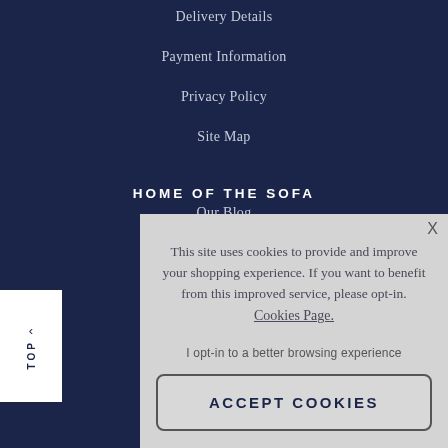Delivery Details
Payment Information
Privacy Policy
Site Map
HOME OF THE SOFA
Our Blog
Frequently Asked Questions
This site uses cookies to provide and improve your shopping experience. If you want to benefit from this improved service, please opt-in. Cookies Page. I opt-in to a better browsing experience
ACCEPT COOKIES
David Gundry